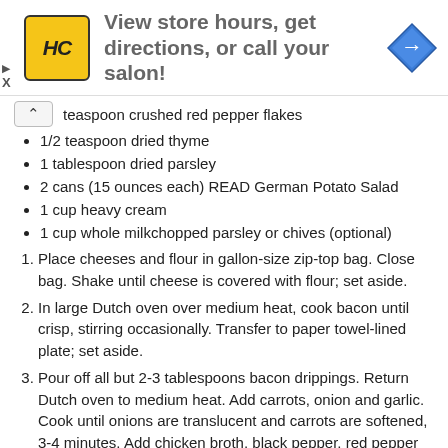[Figure (other): Advertisement banner with HC logo and text 'View store hours, get directions, or call your salon!' with a blue navigation arrow icon]
teaspoon crushed red pepper flakes
1/2 teaspoon dried thyme
1 tablespoon dried parsley
2 cans (15 ounces each) READ German Potato Salad
1 cup heavy cream
1 cup whole milkchopped parsley or chives (optional)
1. Place cheeses and flour in gallon-size zip-top bag. Close bag. Shake until cheese is covered with flour; set aside.
2. In large Dutch oven over medium heat, cook bacon until crisp, stirring occasionally. Transfer to paper towel-lined plate; set aside.
3. Pour off all but 2-3 tablespoons bacon drippings. Return Dutch oven to medium heat. Add carrots, onion and garlic. Cook until onions are translucent and carrots are softened, 3-4 minutes. Add chicken broth, black pepper, red pepper flakes, thyme and parsley. Stir in potato salad. Continue cooking over medium heat 5 minutes, or until potatoes are